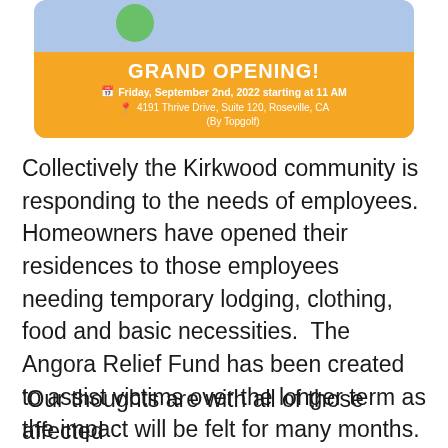[Figure (other): Grand Opening banner on orange background with event details: Friday, September 2nd, 2022 starting at 11 AM, 4191 Thrive Drive, Suite 120, Roseville, CA (By Topgolf). Banner is within a light blue rounded rectangle with a green circle partially visible.]
Collectively the Kirkwood community is responding to the needs of employees. Homeowners have opened their residences to those employees needing temporary lodging, clothing, food and basic necessities.  The Angora Relief Fund has been created to assist victims over the longer term as the impact will be felt for many months.
'Our thoughts are with all of those affected